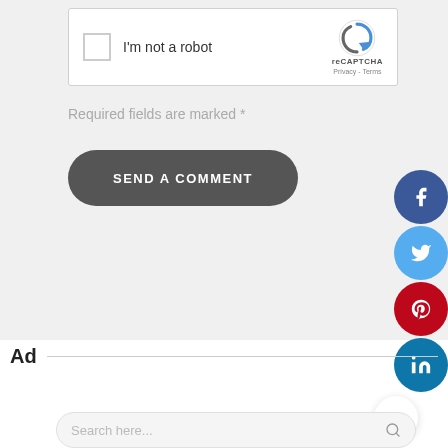[Figure (screenshot): reCAPTCHA widget with checkbox labeled I'm not a robot and reCAPTCHA logo with Privacy and Terms links]
Required fields are marked *
SEND A COMMENT
[Figure (infographic): Social media share buttons: Facebook (dark blue), Twitter (light blue), Pinterest (red), LinkedIn (teal) arranged vertically on the right edge]
Ad
Search here...